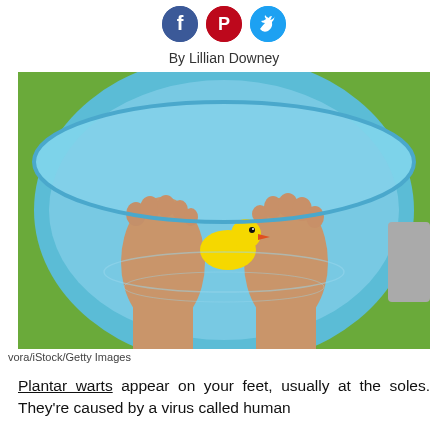[Figure (other): Social media share icons: Facebook (blue circle), Pinterest (red circle), Twitter (light blue circle)]
By Lillian Downey
[Figure (photo): Top-down view of two bare feet soaking in a blue plastic tub of water, with a yellow rubber duck between the feet. Green grass visible in background.]
vora/iStock/Getty Images
Plantar warts appear on your feet, usually at the soles. They're caused by a virus called human